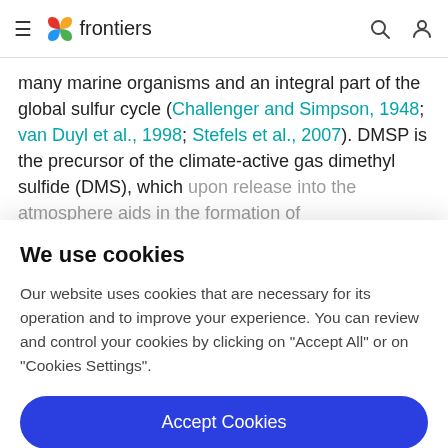frontiers
many marine organisms and an integral part of the global sulfur cycle (Challenger and Simpson, 1948; van Duyl et al., 1998; Stefels et al., 2007). DMSP is the precursor of the climate-active gas dimethyl sulfide (DMS), which upon release into the atmosphere aids in the formation of
We use cookies
Our website uses cookies that are necessary for its operation and to improve your experience. You can review and control your cookies by clicking on "Accept All" or on "Cookies Settings".
Accept Cookies
Cookies Settings